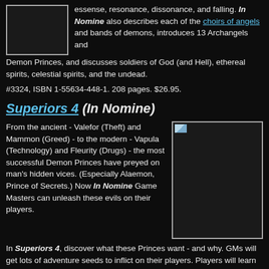[Figure (other): Book cover image placeholder, gray rectangle with border]
essense, resonance, dissonance, and falling. In Nomine also describes each of the choirs of angels and bands of demons, introduces 13 Archangels and Demon Princes, and discusses soldiers of God (and Hell), ethereal spirits, celestial spirits, and the undead.
#3324, ISBN 1-55634-448-1. 208 pages. $26.95.
Superiors 4 (In Nomine)
From the ancient - Valefor (Theft) and Mammon (Greed) - to the modern - Vapula (Technology) and Fleurity (Drugs) - the most successful Demon Princes have preyed on man's hidden vices. (Especially Alaemon, Prince of Secrets.) Now In Nomine Game Masters can unleash these evils on their players.
[Figure (other): Book cover image placeholder for Superiors 4]
In Superiors 4, discover what these Princes want - and why. GMs will get lots of adventure seeds to inflict on their players. Players will learn what it means to serve these Superiors - not just powers and dissonance (though that's